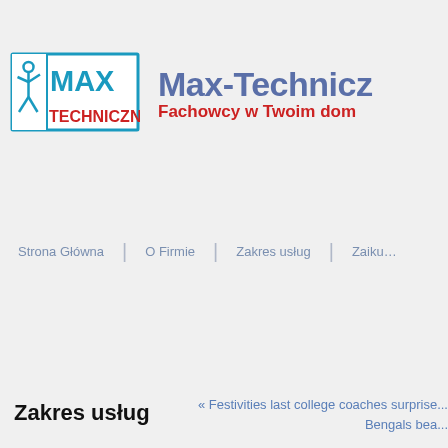[Figure (logo): Max-Techniczny logo: blue bordered rectangle with stylized figure and text MAX in blue, TECHNICZNY in red]
Max-Technicz... Fachowcy w Twoim dom...
Strona Główna | O Firmie | Zakres usług | Zaiku...
Zakres usług
« Festivities last college coaches surprise... Bengals bea...